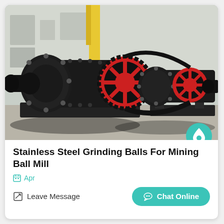[Figure (photo): Two large industrial ball mill machines with black cylindrical drums and red gear wheels, photographed outdoors at a manufacturing facility with a building and yellow crane support in the background.]
Stainless Steel Grinding Balls For Mining Ball Mill
Apr
Leave Message
Chat Online